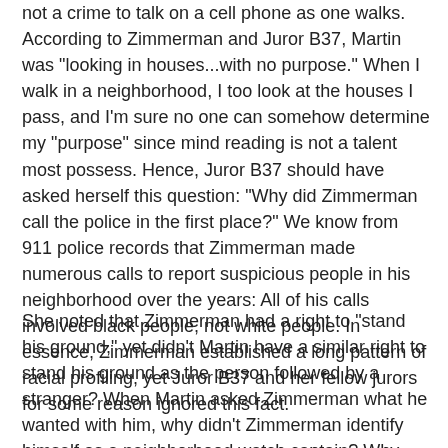not a crime to talk on a cell phone as one walks.  According to Zimmerman and Juror B37, Martin was "looking in houses...with no purpose."  When I walk in a neighborhood, I too look at the houses I pass, and I'm sure no one can somehow determine my "purpose" since mind reading is not a talent most possess.  Hence, Juror B37 should have asked herself this question:  "Why did Zimmerman call the police in the first place?"  We know from 911 police records that Zimmerman made numerous calls to report suspicious people in his neighborhood over the years:  All of his calls involved black people, not white people.  In essence, Zimmerman established a long pattern of racial profiling, yet Juror B37 and her fellow jurors for some reason ignored this fact.
She noted that Zimmerman had a right to "stand his ground," yet didn't Martin have a similar right to stand his ground as the person followed by a stranger?  When Martin asked Zimmerman what he wanted with him, why didn't Zimmerman identify himself as a neighborhood watch captain?  Why didn't Zimmerman immediately make an effort, considering he was armed, to assure the teen that the